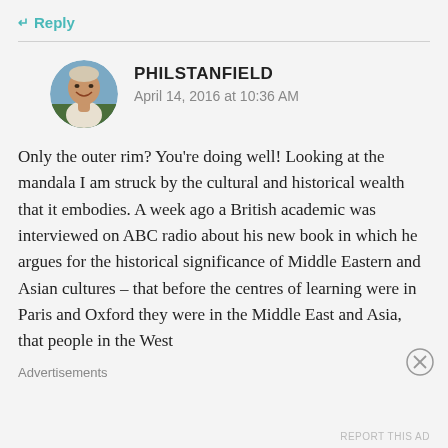↵ Reply
[Figure (photo): Circular avatar photo of Phil Stanfield, an older man smiling, outdoors]
PHILSTANFIELD
April 14, 2016 at 10:36 AM
Only the outer rim? You're doing well! Looking at the mandala I am struck by the cultural and historical wealth that it embodies. A week ago a British academic was interviewed on ABC radio about his new book in which he argues for the historical significance of Middle Eastern and Asian cultures – that before the centres of learning were in Paris and Oxford they were in the Middle East and Asia, that people in the West
Advertisements